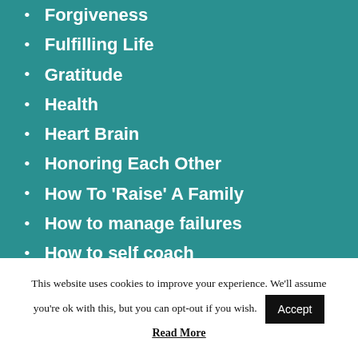Forgiveness
Fulfilling Life
Gratitude
Health
Heart Brain
Honoring Each Other
How To 'Raise' A Family
How to manage failures
How to self coach
Husband
Importance Of Being Courageous
This website uses cookies to improve your experience. We'll assume you're ok with this, but you can opt-out if you wish. Accept Read More